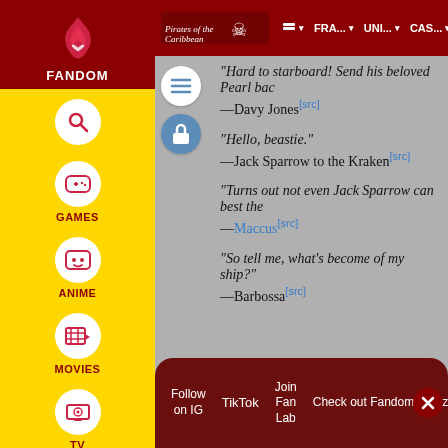Pirates of the Caribbean | FRA... | UNI... | CAS... | THE...
"Hard to starboard! Send his beloved Pearl bac —Davy Jones[src]
"Hello, beastie." —Jack Sparrow to the Kraken[src]
"Turns out not even Jack Sparrow can best the —Maccus[src]
"So tell me, what's become of my ship?" —Barbossa[src]
—Lieutenant Groves and Lord Beckett
Follow on IG | TikTok | Join Fan Lab | Check out Fandom Quizzes and cha